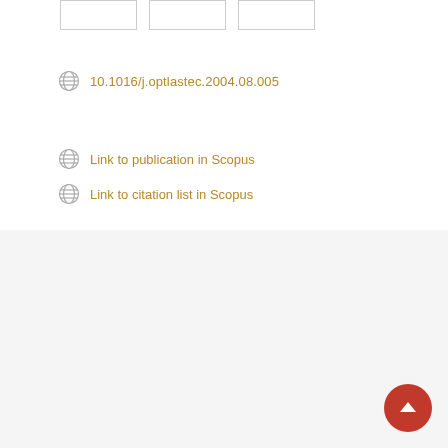[Figure (other): Three small placeholder boxes at the top of the page]
10.1016/j.optlastec.2004.08.005
Link to publication in Scopus
Link to citation list in Scopus
[Figure (logo): Spiral/swirl icon representing a repository or database logo]
Characteristics of laser supersonic heating method for producing micro metallic particles
[Figure (donut-chart): Donut chart mostly red indicating high percentage, representing Carbon steel in Engineering & Materials Science]
Carbon steel
Engineering & Materials Science